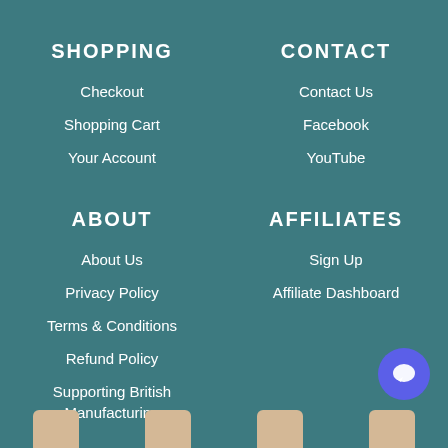SHOPPING
Checkout
Shopping Cart
Your Account
CONTACT
Contact Us
Facebook
YouTube
ABOUT
About Us
Privacy Policy
Terms & Conditions
Refund Policy
Supporting British Manufacturing
AFFILIATES
Sign Up
Affiliate Dashboard